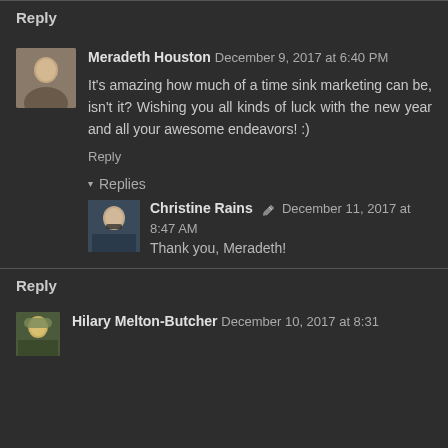Reply
Meradeth Houston December 9, 2017 at 6:40 PM
It's amazing how much of a time sink marketing can be, isn't it? Wishing you all kinds of luck with the new year and all your awesome endeavors! :)
Reply
Replies
Christine Rains ✏ December 11, 2017 at 8:47 AM
Thank you, Meradeth!
Reply
Hilary Melton-Butcher December 10, 2017 at 8:31